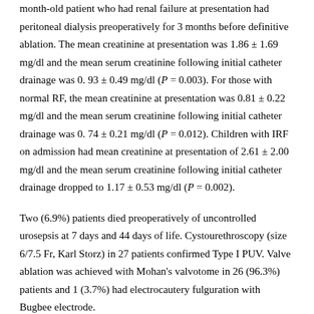month-old patient who had renal failure at presentation had peritoneal dialysis preoperatively for 3 months before definitive ablation. The mean creatinine at presentation was 1.86 ± 1.69 mg/dl and the mean serum creatinine following initial catheter drainage was 0. 93 ± 0.49 mg/dl (P = 0.003). For those with normal RF, the mean creatinine at presentation was 0.81 ± 0.22 mg/dl and the mean serum creatinine following initial catheter drainage was 0. 74 ± 0.21 mg/dl (P = 0.012). Children with IRF on admission had mean creatinine at presentation of 2.61 ± 2.00 mg/dl and the mean serum creatinine following initial catheter drainage dropped to 1.17 ± 0.53 mg/dl (P = 0.002).
Two (6.9%) patients died preoperatively of uncontrolled urosepsis at 7 days and 44 days of life. Cystourethroscopy (size 6/7.5 Fr, Karl Storz) in 27 patients confirmed Type I PUV. Valve ablation was achieved with Mohan's valvotome in 26 (96.3%) patients and 1 (3.7%) had electrocautery fulguration with Bugbee electrode.
There was sustained good postoperative urinary stream in all patients at a median follow-up of 5 months, ranged 1 month to 5 years. Three patients had significant postvoiding residual (PVR) urine volume and were placed on doxazosin which resulted in improved bladder emptying and reduction in PVR. Comparing patients